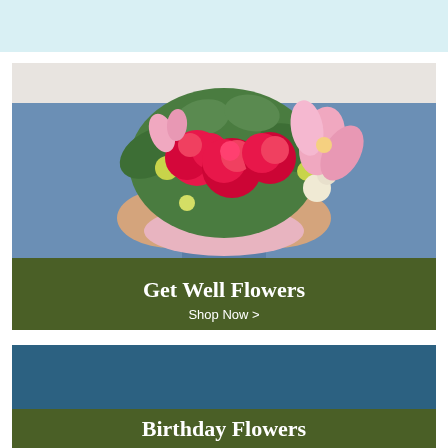[Figure (photo): Light blue decorative banner at top of page]
[Figure (photo): Person in denim jacket holding a bouquet of pink roses, lilies, and greenery with a pink box wrap]
Get Well Flowers
Shop Now >
[Figure (photo): Teal/dark blue rectangle, partially visible second card background]
Birthday Flowers